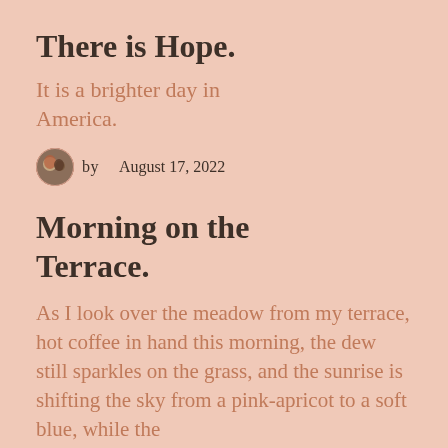There is Hope.
It is a brighter day in America.
by   August 17, 2022
Morning on the Terrace.
As I look over the meadow from my terrace, hot coffee in hand this morning, the dew still sparkles on the grass, and the sunrise is shifting the sky from a pink-apricot to a soft blue, while the...